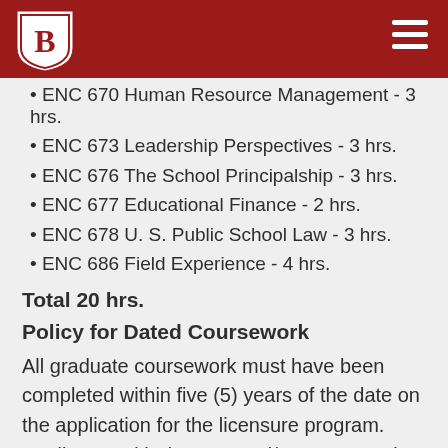Bridgewater College header with logo and navigation
ENC 670 Human Resource Management - 3 hrs.
ENC 673 Leadership Perspectives - 3 hrs.
ENC 676 The School Principalship - 3 hrs.
ENC 677 Educational Finance - 2 hrs.
ENC 678 U. S. Public School Law - 3 hrs.
ENC 686 Field Experience - 4 hrs.
Total 20 hrs.
Policy for Dated Coursework
All graduate coursework must have been completed within five (5) years of the date on the application for the licensure program. Applicants with degrees and/or coursework older than five (5) years must submit evidence of appropriate